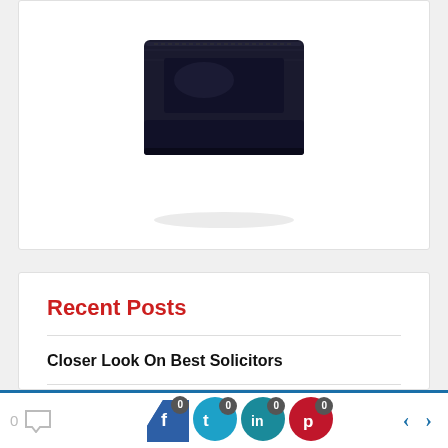[Figure (photo): A black leather wallet photographed from above against a white background, partially cropped at the top.]
Recent Posts
Closer Look On Best Solicitors
Individual Guide On Second Half NBA Lines
Facts About SEO Expert
0 [comment] 0 [facebook] 0 [twitter] 0 [linkedin] 0 [pinterest] < >